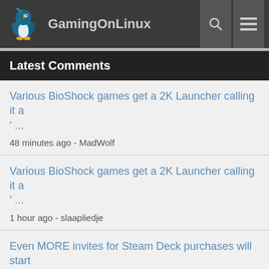GamingOnLinux
Latest Comments
Various BioShock games get a 2K Launcher calling it a '...
48 minutes ago - MadWolf
Various BioShock games get a 2K Launcher calling it a '...
1 hour ago - slaapliedje
Even MORE invites for Steam Deck purchases will start g...
about 2 hours ago - kalin
Various BioShock games get a 2K Launcher calling it a '...